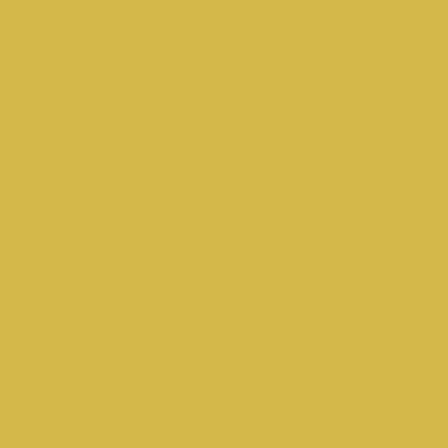15543 15544 15545 15546 15547 15548 15549 15550 15551 15552 15553 15554 15555 15556 15557 15558 15559 15560 15561 15562 15563 15564 15565 15566 15567 15568 15569 15570 15571 15572 15573 15574 15575 15576 15577 15578 15579 15580 15581 15582 15583 15584 15585 15586 15587 15588 15589 15590 15591 15592 15593 15594 15595 15596 15597 15598 15599 15600 15601 15602 15603 15604 15605 15606 15607 15608 15609 15610 15611 15612 15613 15614 15615 15616 15617 15618 15619 15620 15621 15622 15623 15624 15625 15626 15627 15628 15629 15630 15631 15632 15633 15634 15635 15636 15637 15638 15639 15640 15641 15642 15643 15644 15645 15646 15647 15648 15649 15650 15651 15652 15653 15654 15655 15656 15657 15658 15659 15660 15661 15662 15663 15664 15665 15666 15667 15668 15669 15670 15671 15672 15673 15674 15675 15676 15677 15678 15679 15680 15681 15682 15683 15684 15685 15686 15687 15688 15689 15690 15691 15692 15693 15694 15695 15696 15697 15698 15699 15700 15701 15702 15703 15704 15705 15706 15707 15708 15709 15710 15711 15712 15713 15714 15715 15716 15717 15718 15719 15720 15721 15722 15723 15724 15725 15726 15727 15728 15729 15730 15731 15732 15733 15734 15735 15736 15737 15738 15739 15740 15741 15742 15743 15744 15745 15746 15747 15748 15749 15750 15751 15752 15753 15754 15755 15756 15757 15758 15759 15760 15761 15762 15763 15764 15765 15766 15767 15768 15769 15770 15771 15772 15773 15774 15775 15776 15777 15778 15779 15780 15781 15782 15783 15784 15785 15786 15787 15788 15789 15790 15791 15792 15793 15794 15795 15796 15797 15798 15799 15800 15801 15802 15803 15804 15805 15806 15807 15808 15809 15810 15811 15812 15813 15814 15815 15816 15817 15818 15819 15820 15821 15822